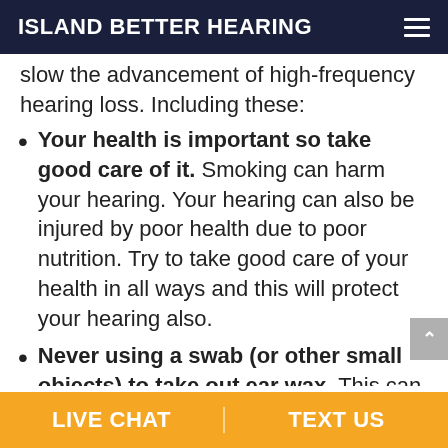ISLAND BETTER HEARING
slow the advancement of high-frequency hearing loss. Including these:
Your health is important so take good care of it. Smoking can harm your hearing. Your hearing can also be injured by poor health due to poor nutrition. Try to take good care of your health in all ways and this will protect your hearing also.
Never using a swab (or other small objects) to take out ear wax. This can push old ear wax into your ear canal and blunt your capacity to hear. Gently
LIVE CHAT | TEXT US